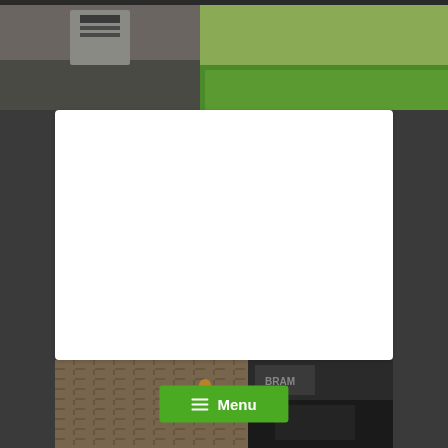[Figure (photo): Top photo showing a memorial or cemetery scene with green grass on the right and darker stone elements on the left]
Slatina (district Levice)
Historical background At the end of 1944, the fighting for the village of Slatina, which lay on the demarcation line,...
Continue reading...
27 April 2020  0
[Figure (photo): Bottom photo showing a building interior or exterior with brick walls and a green Menu button overlay]